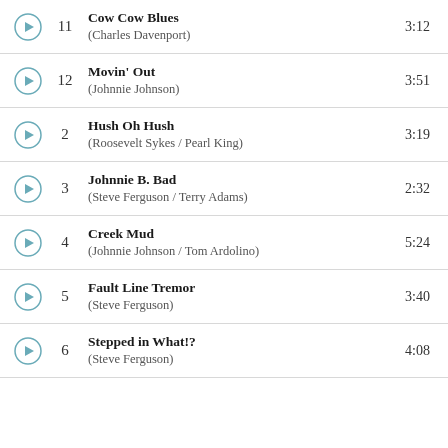11 Cow Cow Blues (Charles Davenport) 3:12
12 Movin' Out (Johnnie Johnson) 3:51
2 Hush Oh Hush (Roosevelt Sykes / Pearl King) 3:19
3 Johnnie B. Bad (Steve Ferguson / Terry Adams) 2:32
4 Creek Mud (Johnnie Johnson / Tom Ardolino) 5:24
5 Fault Line Tremor (Steve Ferguson) 3:40
6 Stepped in What!? (Steve Ferguson) 4:08